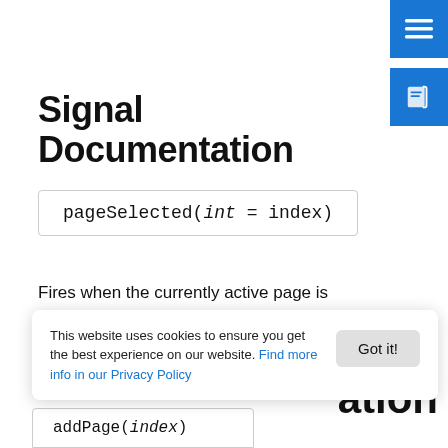[Figure (other): Blue menu button with hamburger icon in top-right corner]
[Figure (other): Blue book/documentation icon button below menu button]
Signal Documentation
Fires when the currently active page is changed by the user.
Note: The corresponding handler is onPageSelected.
This website uses cookies to ensure you get the best experience on our website. Find more info in our Privacy Policy
ation